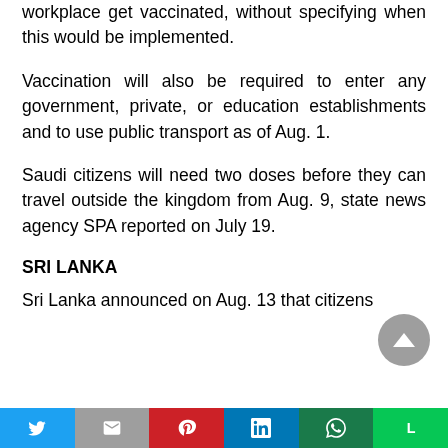workplace get vaccinated, without specifying when this would be implemented.
Vaccination will also be required to enter any government, private, or education establishments and to use public transport as of Aug. 1.
Saudi citizens will need two doses before they can travel outside the kingdom from Aug. 9, state news agency SPA reported on July 19.
SRI LANKA
Sri Lanka announced on Aug. 13 that citizens
Twitter | Gmail | Pinterest | LinkedIn | WhatsApp | Line